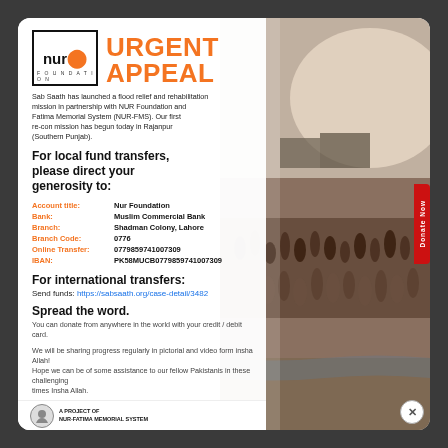[Figure (logo): Nur Foundation logo — square bracket box with 'nur' text and orange dot graphic, 'FOUNDATION' text below]
URGENT APPEAL
Sab Saath has launched a flood relief and rehabilitation mission in partnership with NUR Foundation and Fatima Memorial System (NUR-FMS). Our first re-con mission has begun today in Rajanpur (Southern Punjab).
For local fund transfers, please direct your generosity to:
| Label | Value |
| --- | --- |
| Account title: | Nur Foundation |
| Bank: | Muslim Commercial Bank |
| Branch: | Shadman Colony, Lahore |
| Branch Code: | 0776 |
| Online Transfer: | 0779859741007309 |
| IBAN: | PK58MUCB0779859741007309 |
For international transfers:
Send funds: https://sabsaath.org/case-detail/3482
Spread the word.
You can donate from anywhere in the world with your credit / debit card.
We will be sharing progress regularly in pictorial and video form insha Allah! Hope we can be of some assistance to our fellow Pakistanis in these challenging times Insha Allah.
[Figure (photo): Background photo of large crowd of people walking along a road/riverbank, flood emergency scene]
A PROJECT OF NUR-FATIMA MEMORIAL SYSTEM